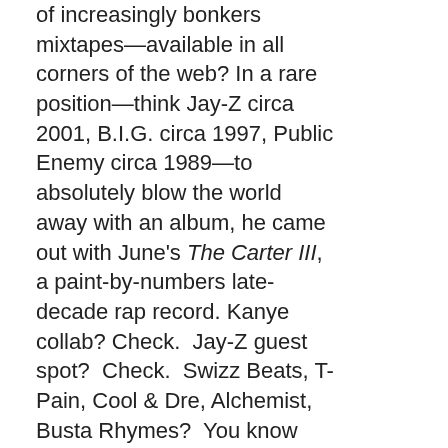of increasingly bonkers mixtapes—available in all corners of the web? In a rare position—think Jay-Z circa 2001, B.I.G. circa 1997, Public Enemy circa 1989—to absolutely blow the world away with an album, he came out with June's The Carter III, a paint-by-numbers late-decade rap record. Kanye collab? Check.  Jay-Z guest spot?  Check.  Swizz Beats, T-Pain, Cool & Dre, Alchemist, Busta Rhymes?  You know